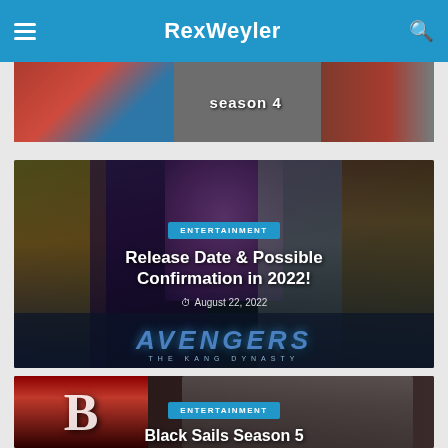RexWeyler
[Figure (screenshot): Partial top card showing 'season 4' text with colorful characters background]
[Figure (screenshot): Avengers: The Kang Dynasty article card with ENTERTAINMENT badge, title 'Release Date & Possible Confirmation in 2022!', date August 22, 2022]
[Figure (screenshot): Black Sails Season 5 article card with ENTERTAINMENT badge, partial view showing B logo and man's face]